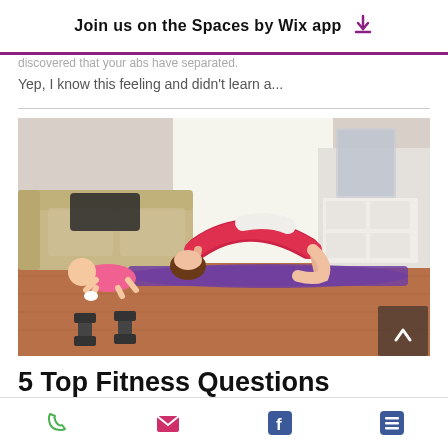Join us on the Spaces by Wix app
discovered that your abs have separated.
Yep, I know this feeling and didn't learn a...
[Figure (photo): Woman doing a bridge pose on a purple yoga mat in a living room, with a baby crawling next to her. Dumbbells in the foreground, sofa and dresser in background.]
5 Top Fitness Questions
Phone | Email | Facebook | Menu